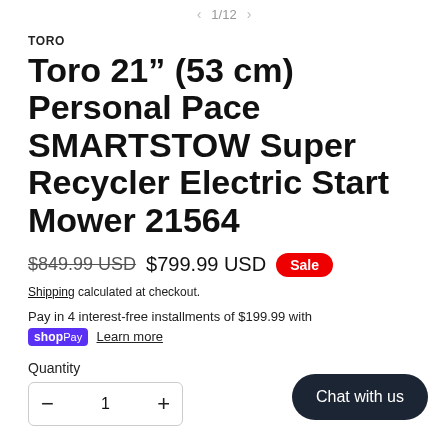1/12
TORO
Toro 21" (53 cm) Personal Pace SMARTSTOW Super Recycler Electric Start Mower 21564
$849.99 USD  $799.99 USD  Sale
Shipping calculated at checkout.
Pay in 4 interest-free installments of $199.99 with shop Pay  Learn more
Quantity
1
Chat with us